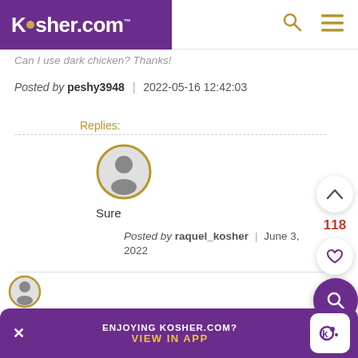Kosher.com
Can I use dark chicken? Thanks!
Posted by peshy3948 | 2022-05-16 12:42:03
Replies:
[Figure (illustration): Default user avatar circle with person silhouette, gold border]
Sure
Posted by raquel_kosher | June 3, 2022
ENJOYING KOSHER.COM? VIEW IN APP